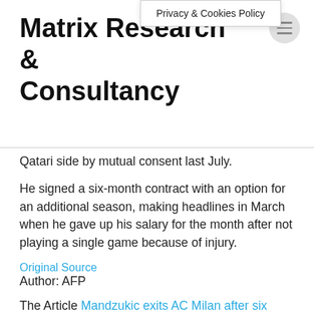Privacy & Cookies Policy
Matrix Research & Consultancy
Qatari side by mutual consent last July.
He signed a six-month contract with an option for an additional season, making headlines in March when he gave up his salary for the month after not playing a single game because of injury.
Original Source
Author: AFP
The Article Mandzukic exits AC Milan after six months First Appeared ON : https://arsenalweb.co.uk
The Article Mandzukic exits AC Milan after six months First Appeared ON